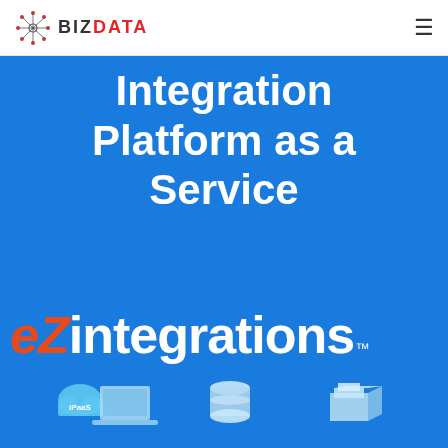BIZDATA
Integration Platform as a Service
[Figure (logo): eZintegrations logo with orange italic 'eZ' and white 'integrations' text followed by trademark symbol]
[Figure (illustration): Bottom partial illustration showing cloud labeled iPaaS, laptop/monitor, database cylinders, and server/box shapes in light blue isometric style on blue background]